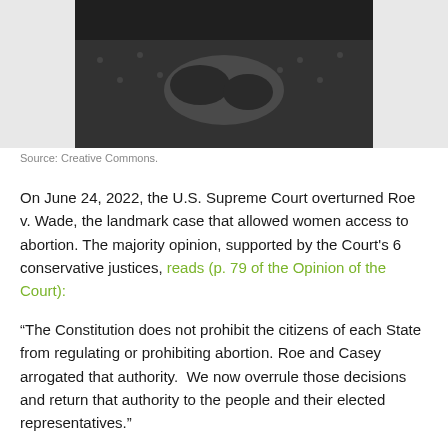[Figure (photo): Black and white photo of a pregnant woman's torso, hands clasped over belly, wearing a polka dot top]
Source: Creative Commons.
On June 24, 2022, the U.S. Supreme Court overturned Roe v. Wade, the landmark case that allowed women access to abortion. The majority opinion, supported by the Court's 6 conservative justices, reads (p. 79 of the Opinion of the Court):
“The Constitution does not prohibit the citizens of each State from regulating or prohibiting abortion. Roe and Casey arrogated that authority.  We now overrule those decisions and return that authority to the people and their elected representatives.”